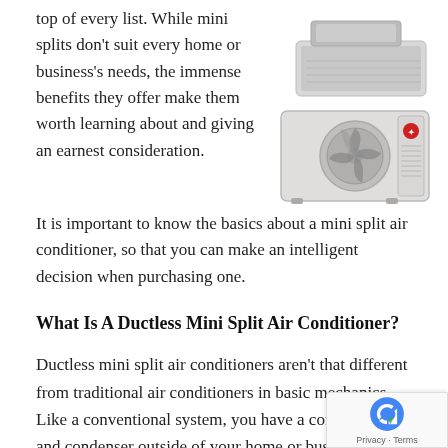top of every list. While mini splits don't suit every home or business's needs, the immense benefits they offer make them worth learning about and giving an earnest consideration. It is important to know the basics about a mini split air conditioner, so that you can make an intelligent decision when purchasing one.
[Figure (photo): A Mitsubishi ductless mini split air conditioner system showing the indoor ceiling cassette unit on top and the outdoor compressor/condenser unit below.]
What Is A Ductless Mini Split Air Conditioner?
Ductless mini split air conditioners aren't that different from traditional air conditioners in basic mechanics. Like a conventional system, you have a compressor and condenser outside of your home or business, where the noise and hard work occurs. Inside your building however, the differences become apparent. In place of bulky ductwork pushing or heated air, a mini split air conditioner system has small